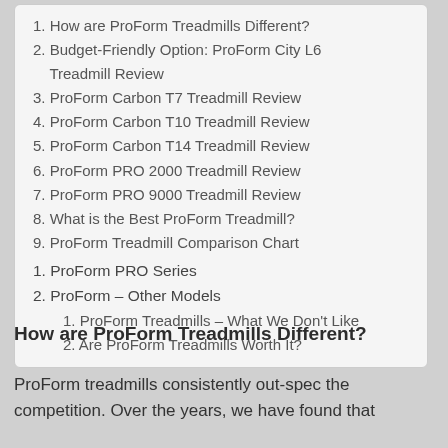1. How are ProForm Treadmills Different?
2. Budget-Friendly Option: ProForm City L6 Treadmill Review
3. ProForm Carbon T7 Treadmill Review
4. ProForm Carbon T10 Treadmill Review
5. ProForm Carbon T14 Treadmill Review
6. ProForm PRO 2000 Treadmill Review
7. ProForm PRO 9000 Treadmill Review
8. What is the Best ProForm Treadmill?
9. ProForm Treadmill Comparison Chart
1. ProForm PRO Series
2. ProForm – Other Models
1. ProForm Treadmills – What We Don't Like
2. Are ProForm Treadmills Worth It?
How are ProForm Treadmills Different?
ProForm treadmills consistently out-spec the competition. Over the years, we have found that